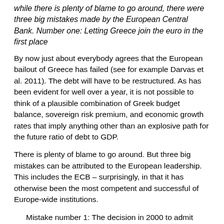while there is plenty of blame to go around, there were three big mistakes made by the European Central Bank. Number one: Letting Greece join the euro in the first place
By now just about everybody agrees that the European bailout of Greece has failed (see for example Darvas et al. 2011). The debt will have to be restructured. As has been evident for well over a year, it is not possible to think of a plausible combination of Greek budget balance, sovereign risk premium, and economic growth rates that imply anything other than an explosive path for the future ratio of debt to GDP.
There is plenty of blame to go around. But three big mistakes can be attributed to the European leadership. This includes the ECB – surprisingly, in that it has otherwise been the most competent and successful of Europe-wide institutions.
Mistake number 1: The decision in 2000 to admit Greece in the Eurozone.
Greece was an outlier, geographically and economically. It did not come close to meeting the Maastricht Criteria, particularly the 3% ceiling on the budget deficit as a share of GDP. No doubt most Greeks would agree with the judgment